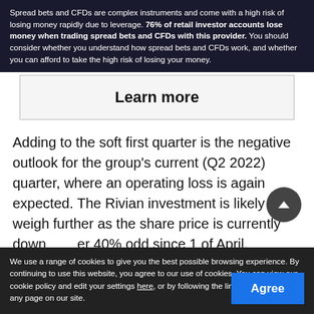Spread bets and CFDs are complex instruments and come with a high risk of losing money rapidly due to leverage. 76% of retail investor accounts lose money when trading spread bets and CFDs with this provider. You should consider whether you understand how spread bets and CFDs work, and whether you can afford to take the high risk of losing your money.
Learn more
Adding to the soft first quarter is the negative outlook for the group's current (Q2 2022) quarter, where an operating loss is again expected. The Rivian investment is likely to weigh further as the share price is currently down over 40% odd since 1 of April.
As we emerge out of the pandemic the ecommerce space is feeling a pinch from a contraction of bricks and mortar experience, uppo... inflation (stemming from labour and logistic / fuels costs) as well as the Russia war and supply chain bottlenecks.
We use a range of cookies to give you the best possible browsing experience. By continuing to use this website, you agree to our use of cookies. You can view our cookie policy and edit your settings here, or by following the link at the bottom of any page on our site.
Agree